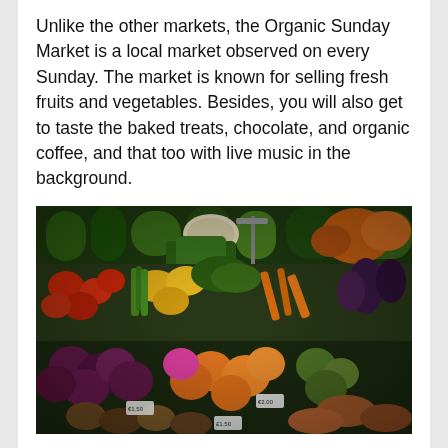Unlike the other markets, the Organic Sunday Market is a local market observed on every Sunday. The market is known for selling fresh fruits and vegetables. Besides, you will also get to taste the baked treats, chocolate, and organic coffee, and that too with live music in the background.
[Figure (photo): A vibrant market stall overflowing with a wide variety of fresh fruits and vegetables, including tomatoes, peppers, greens, oranges, plums, carrots, pumpkins, and many other colorful produce items displayed in abundance.]